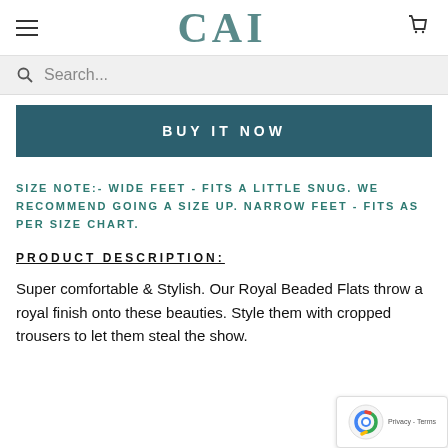CAI
Search...
BUY IT NOW
SIZE NOTE:- WIDE FEET - FITS A LITTLE SNUG. WE RECOMMEND GOING A SIZE UP. NARROW FEET - FITS AS PER SIZE CHART.
PRODUCT DESCRIPTION:
Super comfortable & Stylish. Our Royal Beaded Flats throw a royal finish onto these beauties. Style them with cropped trousers to let them steal the show.
[Figure (logo): reCAPTCHA privacy badge with blue recaptcha icon and Privacy - Terms links]